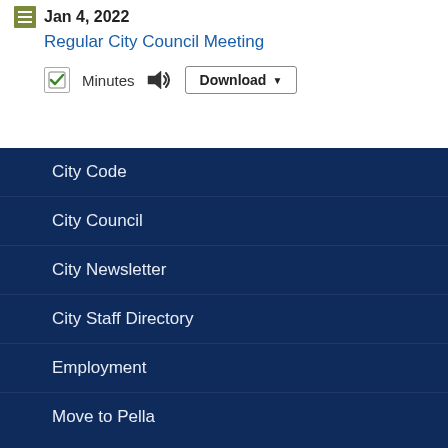Jan 4, 2022
Regular City Council Meeting
Minutes  Download
City Code
City Council
City Newsletter
City Staff Directory
Employment
Move to Pella